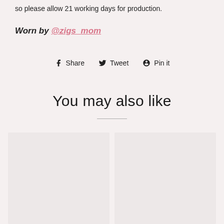so please allow 21 working days for production.
Worn by @zigs_mom
Share  Tweet  Pin it
You may also like
[Figure (photo): Two placeholder product image cards side by side]